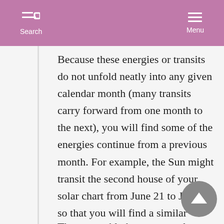Search  Menu
Because these energies or transits do not unfold neatly into any given calendar month (many transits carry forward from one month to the next), you will find some of the energies continue from a previous month. For example, the Sun might transit the second house of your solar chart from June 21 to July 22, so that you will find a similar interpretation for this transit in both June and July's horoscope. This is normal and expected. Transits don't suddenly change as the calendar month changes.
These monthly horoscopes also include an